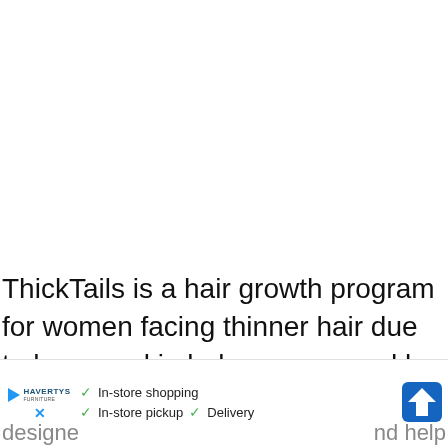ThickTails is a hair growth program for women facing thinner hair due to hormonal imbalances caused by menopause, stress and postpartum recovery. The DHT blocker solutions and hair growth products are designed ... nd help with h...
[Figure (screenshot): Advertisement banner overlay showing Havertys furniture store ad with In-store shopping, In-store pickup, and Delivery checkmarks, plus a navigation/directions icon on the right.]